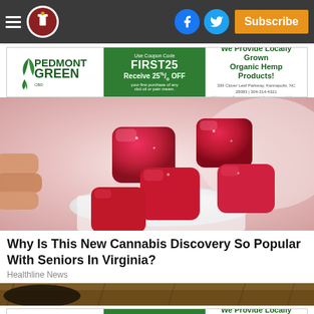[Figure (screenshot): Website navigation bar with hamburger menu, logo, Facebook and Twitter social icons, and orange Subscribe button on dark gray background]
[Figure (infographic): Pedmont Green CBD advertisement banner: Use Coupon Code FIRST25 Receive 25% OFF your first purchase of any cbd oil or pain cream. We Provide Locally Grown Organic Hemp Products! 339 Clover Leaf Parkway, Kannapolis, NC 28083 | 304-314-4321 Visit us on line at: www.piedmontgreencbd.com]
[Figure (photo): Close-up photo of red/ruby cannabis gummies in a small white cup held by a hand, on a light background]
Why Is This New Cannabis Discovery So Popular With Seniors In Virginia?
Healthline News
[Figure (photo): Partial photo of a dark textured surface, likely ground or soil]
[Figure (infographic): Pedmont Green CBD advertisement banner: Use Coupon Code FIRST25 Receive 25% OFF your first purchase of any cbd oil or pain cream. We Provide Locally Grown Organic Hemp Products! 339 Clover Leaf Parkway, Kannapolis, NC 28083 | 304-314-4321 Visit us on line at: www.piedmontgreencbd.com]